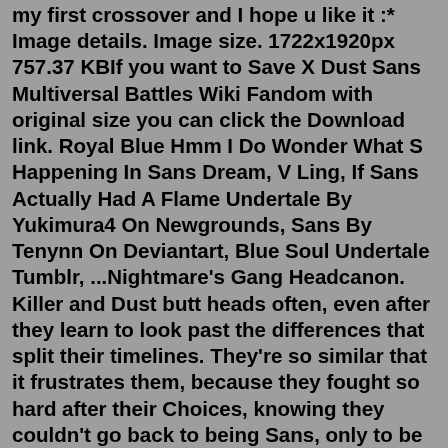my first crossover and I hope u like it :* Image details. Image size. 1722x1920px 757.37 KBIf you want to Save X Dust Sans Multiversal Battles Wiki Fandom with original size you can click the Download link. Royal Blue Hmm I Do Wonder What S Happening In Sans Dream, V Ling, If Sans Actually Had A Flame Undertale By Yukimura4 On Newgrounds, Sans By Tenynn On Deviantart, Blue Soul Undertale Tumblr, ...Nightmare's Gang Headcanon. Killer and Dust butt heads often, even after they learn to look past the differences that split their timelines. They're so similar that it frustrates them, because they fought so hard after their Choices, knowing they couldn't go back to being Sans, only to be stuck with one another. May 17, 2021 · Dust, Horror and Cross: Killer: No you're not, Killer! We still love you, Killer! undertale undertale au sans the skeleton sans incorrect quotes killer sans killer dust sans dust horror horror sans cross sans cross bad sans. 80 notes. Nightmare: Okay, what does A stand